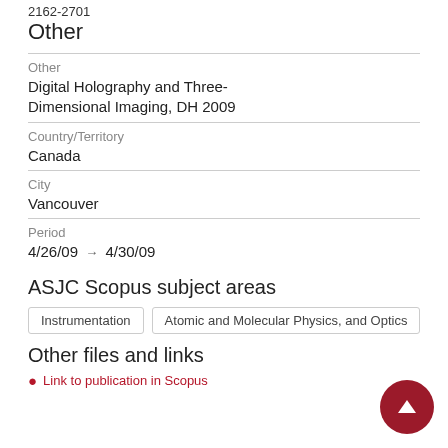2162-2701
Other
Other
Digital Holography and Three-Dimensional Imaging, DH 2009
Country/Territory
Canada
City
Vancouver
Period
4/26/09 → 4/30/09
ASJC Scopus subject areas
Instrumentation
Atomic and Molecular Physics, and Optics
Other files and links
Link to publication in Scopus